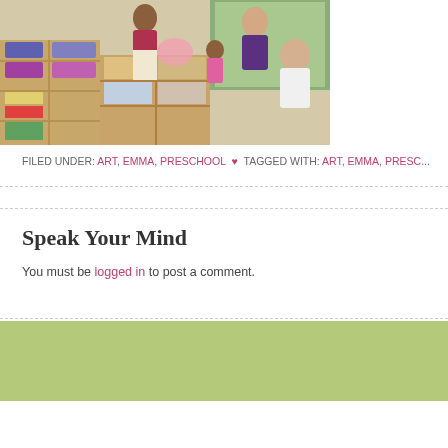[Figure (photo): Classroom scene showing teachers and children at wooden shelving units with cubbies and supplies, in a preschool room with a window in the background.]
FILED UNDER: ART, EMMA, PRESCHOOL ♥ TAGGED WITH: ART, EMMA, PRESCHOOL
Speak Your Mind
You must be logged in to post a comment.
COPYRIGHT © 2022 · ALL RIGHTS PRETTY YOUNG THING T